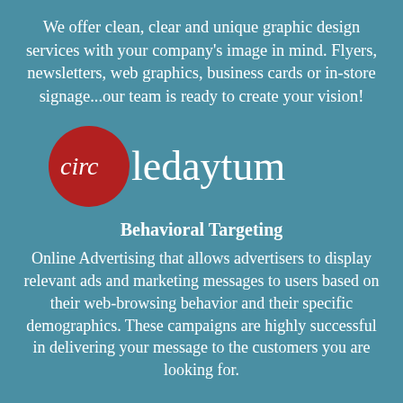We offer clean, clear and unique graphic design services with your company's image in mind. Flyers, newsletters, web graphics, business cards or in-store signage...our team is ready to create your vision!
[Figure (logo): Circledaytum logo: a dark red circle on the left containing the word 'circ' in white italic serif font, followed by 'ledaytum' in white serif font to the right of the circle, all on a teal background.]
Behavioral Targeting
Online Advertising that allows advertisers to display relevant ads and marketing messages to users based on their web-browsing behavior and their specific demographics. These campaigns are highly successful in delivering your message to the customers you are looking for.